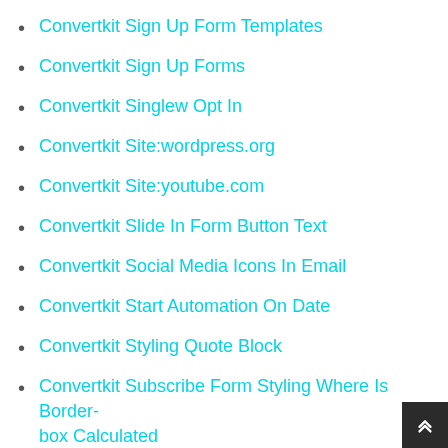Convertkit Sign Up Form Templates
Convertkit Sign Up Forms
Convertkit Singlew Opt In
Convertkit Site:wordpress.org
Convertkit Site:youtube.com
Convertkit Slide In Form Button Text
Convertkit Social Media Icons In Email
Convertkit Start Automation On Date
Convertkit Styling Quote Block
Convertkit Subscribe Form Styling Where Is Border-box Calculated